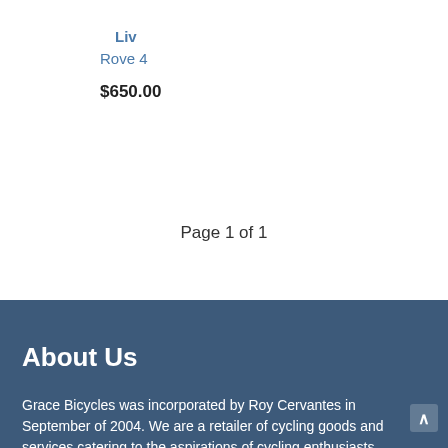Liv
Rove 4
$650.00
Page 1 of 1
About Us
Grace Bicycles was incorporated by Roy Cervantes in September of 2004. We are a retailer of cycling goods and services catering to the aspirations of cycling enthusiasts...